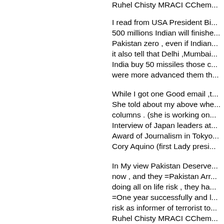Ruhel Chisty MRACI CChem...
I read from USA President Bi... 500 millions Indian will finishe... Pakistan zero , even if Indian... it also tell that Delhi ,Mumbai... India buy 50 missiles those c... were more advanced them th...
While I got one Good email ,t... She told about my above whe... columns . (she is working on... Interview of Japan leaders at... Award of Journalism in Tokyo... Cory Aquino (first Lady presi...
In My view Pakistan Deserve... now , and they =Pakistan Arr... doing all on life risk , they ha... =One year successfully and l... risk as informer of terrorist to... Ruhel Chisty MRACI CChem...
Pakistan as nation friend of U... They are sending there army...
(1) All Talented brain +rich M... =Age 43 years ,Birth 1966 !!?...
(2) Its tell that Pakistan forma...
(3) In 1969 USA =CIA, penta...